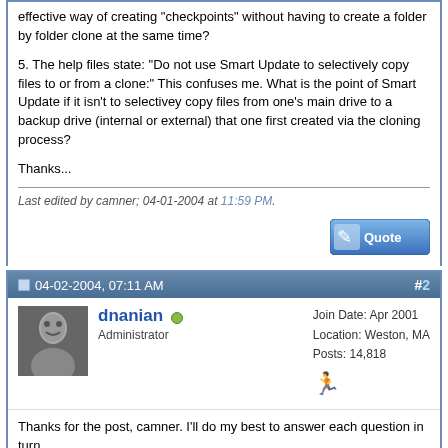effective way of creating "checkpoints" without having to create a folder by folder clone at the same time?
5. The help files state: "Do not use Smart Update to selectively copy files to or from a clone:" This confuses me. What is the point of Smart Update if it isn't to selectivey copy files from one's main drive to a backup drive (internal or external) that one first created via the cloning process?
Thanks...
Last edited by camner; 04-01-2004 at 11:59 PM.
[Figure (screenshot): Quote button]
04-02-2004, 07:11 AM  #2
[Figure (photo): Avatar of dnanian]
dnanian  Administrator  Join Date: Apr 2001  Location: Weston, MA  Posts: 14,818
Thanks for the post, camner. I'll do my best to answer each question in turn.
Quote:
Originally Posted by camner
1. The help talks about using SD to create "checkpoints". Do I presume correctly that the way to do this is to get SD to create a complete image of my main drive whenever I want to create a